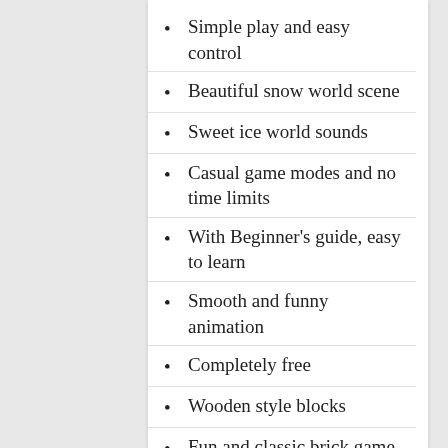Simple play and easy control
Beautiful snow world scene
Sweet ice world sounds
Casual game modes and no time limits
With Beginner's guide, easy to learn
Smooth and funny animation
Completely free
Wooden style blocks
Fun and classic brick game
Funny and colorful